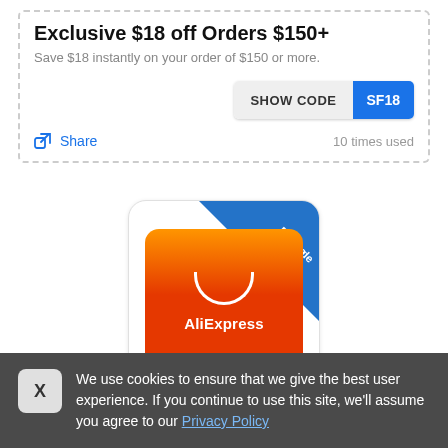Exclusive $18 off Orders $150+
Save $18 instantly on your order of $150 or more.
SHOW CODE  SF18
Share    10 times used
[Figure (logo): AliExpress promo code logo card with blue diagonal 'Promo code' banner in top-right corner, orange-to-red gradient background with white smile icon and AliExpress text]
We use cookies to ensure that we give the best user experience. If you continue to use this site, we'll assume you agree to our Privacy Policy